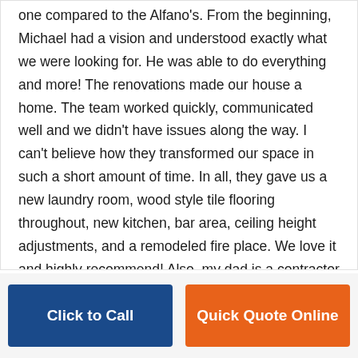one compared to the Alfano's. From the beginning, Michael had a vision and understood exactly what we were looking for. He was able to do everything and more! The renovations made our house a home. The team worked quickly, communicated well and we didn't have issues along the way. I can't believe how they transformed our space in such a short amount of time. In all, they gave us a new laundry room, wood style tile flooring throughout, new kitchen, bar area, ceiling height adjustments, and a remodeled fire place. We love it and highly recommend! Also, my dad is a contractor and I've had a couple friends also in the business come by and they have complimented their craftsmanship too!"
Click to Call
Quick Quote Online